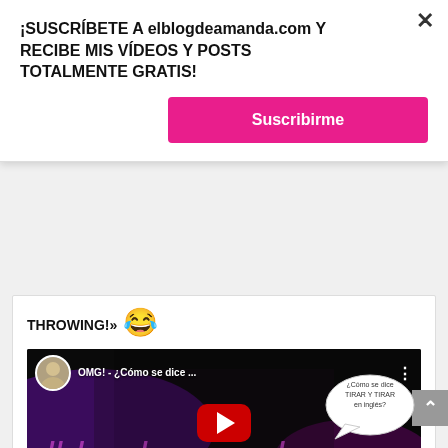¡SUSCRÍBETE A elblogdeamanda.com Y RECIBE MIS VÍDEOS Y POSTS TOTALMENTE GRATIS!
Suscribirme
THROWING!» 😂
[Figure (screenshot): YouTube video thumbnail showing a woman with blonde hair with text 'OMG! - ¿Cómo se dice...' and a speech bubble in Spanish asking about push and pull in English, with a red play button overlay]
[Figure (other): Grey scroll-to-top button with upward arrow]